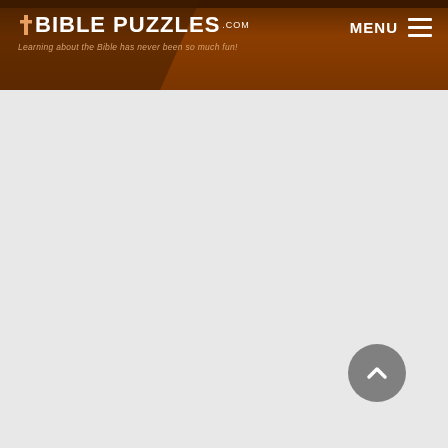BiblePuzzles.com — Learning about the Bible has never been so much fun!
[Figure (screenshot): Back to top button — circular gray button with upward chevron arrow in the bottom-right corner of the page]